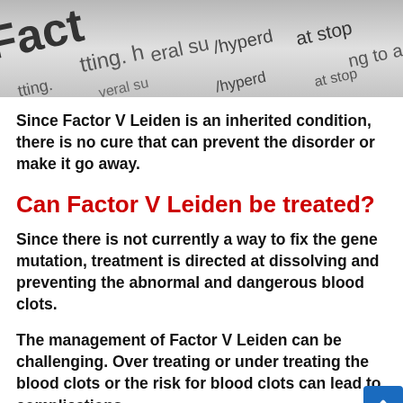[Figure (photo): Close-up photograph of printed text showing words including 'Factor', 'hyperc', 'stop', 'tting', 'eral su', 'ing to a' — partial words visible on printed paper]
Since Factor V Leiden is an inherited condition, there is no cure that can prevent the disorder or make it go away.
Can Factor V Leiden be treated?
Since there is not currently a way to fix the gene mutation, treatment is directed at dissolving and preventing the abnormal and dangerous blood clots.
The management of Factor V Leiden can be challenging. Over treating or under treating the blood clots or the risk for blood clots can lead to complications.